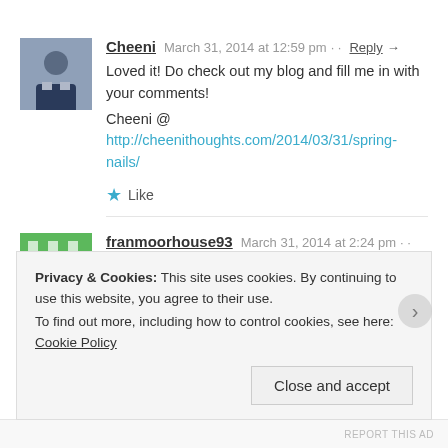Cheeni  March 31, 2014 at 12:59 pm · Reply →
Loved it! Do check out my blog and fill me in with your comments!
Cheeni @ http://cheenithoughts.com/2014/03/31/spring-nails/
★ Like
franmoorhouse93  March 31, 2014 at 2:24 pm · Reply →
Reblogged this on Fran Moorhouse and commented:
Totally agree! its the way of the world! so sad… all for a good cause aswell!
Privacy & Cookies: This site uses cookies. By continuing to use this website, you agree to their use.
To find out more, including how to control cookies, see here: Cookie Policy
Close and accept